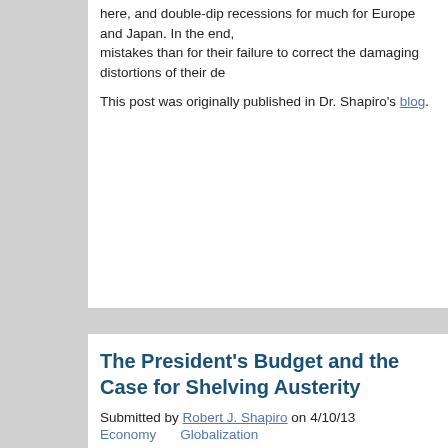here, and double-dip recessions for much for Europe and Japan. In the end, mistakes than for their failure to correct the damaging distortions of their de
This post was originally published in Dr. Shapiro's blog.
The President's Budget and the Case for Shelving Austerity
Submitted by Robert J. Shapiro on 4/10/13
Economy    Globalization
The President released his FY 2014 budget today, and right off, it makes m passes for serious fiscal discussion in DC.  In particular, it offers up new pu entitlement changes to restore long-term fiscal sanity, and phases in those (hopefully) is stronger.  Apart from Fed policy, the budget is government's m growth.  So, the critical economic question is what budget approach would the near-term and longer.  The best answer for now is a plan built around a serious measures to broaden the tax base and pare entitlement benefits fo resolve the festering issues left over from the 2008-2009 financial meltdown
To appreciate why continued austerity would be economically reckless, just the United States grew faster than almost any other advanced economy.  B been back in recession, France and Britain treaded water at 0.1 percent an less than 1 percent.  Even in Northern Europe, Denmark contracted and Sw United States looked good with 2.2 percent growth – although only 0.4 perc between Canada's 1.9 percent rate and Australia with 2.2 percent growth.